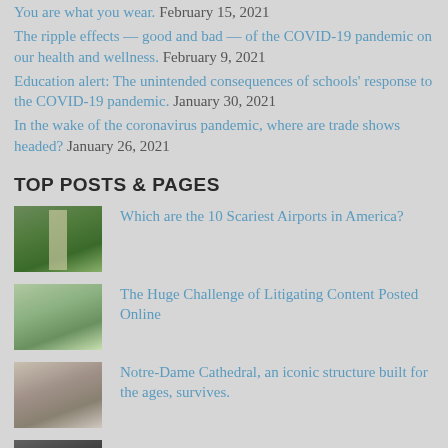The ripple effects — good and bad — of the COVID-19 pandemic on our health and wellness. February 9, 2021
Education alert: The unintended consequences of schools' response to the COVID-19 pandemic. January 30, 2021
In the wake of the coronavirus pandemic, where are trade shows headed? January 26, 2021
TOP POSTS & PAGES
Which are the 10 Scariest Airports in America?
The Huge Challenge of Litigating Content Posted Online
Notre-Dame Cathedral, an iconic structure built for the ages, survives.
(partially visible item)